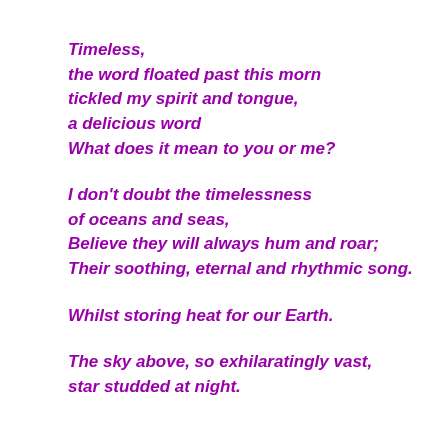Timeless,
the word floated past this morn
tickled my spirit and tongue,
a delicious word
What does it mean to you or me?

I don't doubt the timelessness
of oceans and seas,
Believe they will always hum and roar;
Their soothing, eternal and rhythmic song.

Whilst storing heat for our Earth.

The sky above, so exhilaratingly vast,
star studded at night.